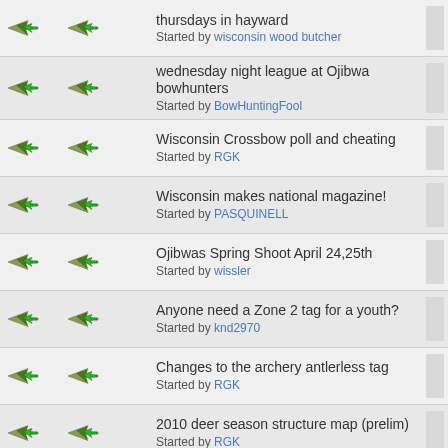thursdays in hayward — Started by wisconsin wood butcher
wednesday night league at Ojibwa bowhunters — Started by BowHuntingFool
Wisconsin Crossbow poll and cheating — Started by RGK
Wisconsin makes national magazine! — Started by PASQUINELL
Ojibwas Spring Shoot April 24,25th — Started by wissler
Anyone need a Zone 2 tag for a youth? — Started by knd2970
Changes to the archery antlerless tag — Started by RGK
2010 deer season structure map (prelim) — Started by RGK
NRB establishes new deer goal — Started by RGK
Stumpin In Wisconsin